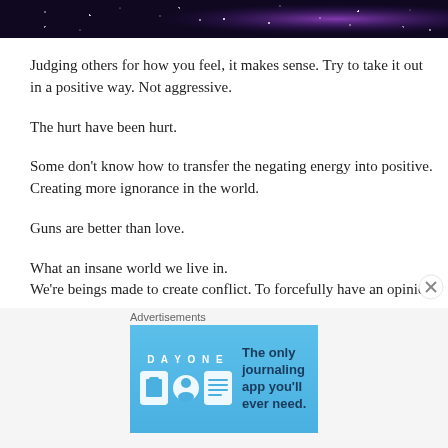[Figure (photo): Dark galaxy/space image with purple and blue tones and stars]
Judging others for how you feel, it makes sense. Try to take it out in a positive way. Not aggressive.
The hurt have been hurt.
Some don’t know how to transfer the negating energy into positive. Creating more ignorance in the world.
Guns are better than love.
What an insane world we live in.
We’re beings made to create conflict. To forcefully have an opinion
[Figure (screenshot): Day One journaling app advertisement banner with light blue background, app icons, and text 'The only journaling app you'll ever need.']